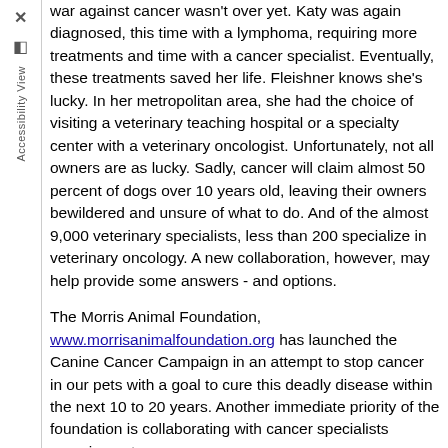war against cancer wasn't over yet. Katy was again diagnosed, this time with a lymphoma, requiring more treatments and time with a cancer specialist. Eventually, these treatments saved her life. Fleishner knows she's lucky. In her metropolitan area, she had the choice of visiting a veterinary teaching hospital or a specialty center with a veterinary oncologist. Unfortunately, not all owners are as lucky. Sadly, cancer will claim almost 50 percent of dogs over 10 years old, leaving their owners bewildered and unsure of what to do. And of the almost 9,000 veterinary specialists, less than 200 specialize in veterinary oncology. A new collaboration, however, may help provide some answers - and options.
The Morris Animal Foundation, www.morrisanimalfoundation.org has launched the Canine Cancer Campaign in an attempt to stop cancer in our pets with a goal to cure this deadly disease within the next 10 to 20 years. Another immediate priority of the foundation is collaborating with cancer specialists ensuring net